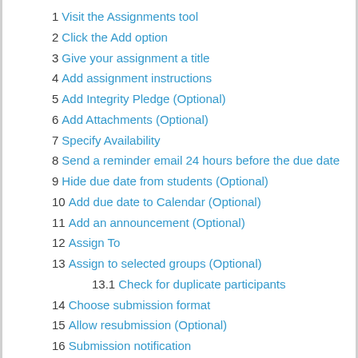1 Visit the Assignments tool
2 Click the Add option
3 Give your assignment a title
4 Add assignment instructions
5 Add Integrity Pledge (Optional)
6 Add Attachments (Optional)
7 Specify Availability
8 Send a reminder email 24 hours before the due date
9 Hide due date from students (Optional)
10 Add due date to Calendar (Optional)
11 Add an announcement (Optional)
12 Assign To
13 Assign to selected groups (Optional)
13.1 Check for duplicate participants
14 Choose submission format
15 Allow resubmission (Optional)
16 Submission notification